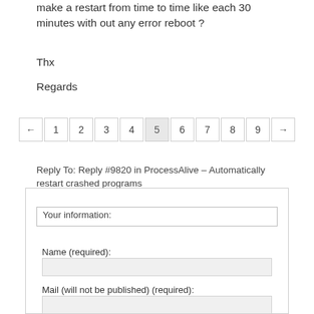make a restart from time to time like each 30 minutes with out any error reboot ?
Thx
Regards
← 1 2 3 4 5 6 7 8 9 →
Reply To: Reply #9820 in ProcessAlive – Automatically restart crashed programs
Your information:
Name (required):
Mail (will not be published) (required):